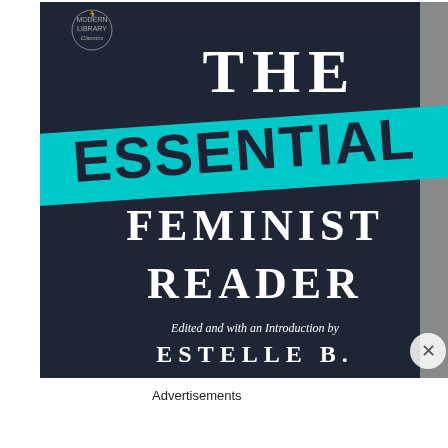[Figure (photo): A photograph showing the cover of the book 'The Essential Feminist Reader', edited and with an Introduction by Estelle B. The cover is dark navy/charcoal blue with large white serif text reading 'THE', 'FEMINIST', 'READER', and a bold cyan/turquoise diagonal banner across the upper-middle portion with black letters reading 'ESSENTIAL'. Below the main title, italic text reads 'Edited and with an Introduction by', followed by 'ESTELLE B.' in spaced white capitals. A Modern Library Classics logo appears in the upper-left corner. A close/dismiss button (X in a circle) appears in the lower-right of the photograph.]
Advertisements